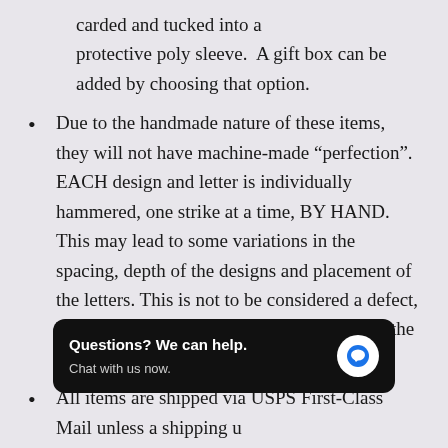carded and tucked into a protective poly sleeve.  A gift box can be added by choosing that option.
Due to the handmade nature of these items, they will not have machine-made “perfection”.  EACH design and letter is individually hammered, one strike at a time, BY HAND.  This may lead to some variations in the spacing, depth of the designs and placement of the letters. This is not to be considered a defect, but instead a part of the unique character of the piece.
All items are shipped via USPS First-Class Mail unless a shipping upgrade is chosen for faster options. During high volume times (major gift-giving holidays), we ALWAYS recommend that you